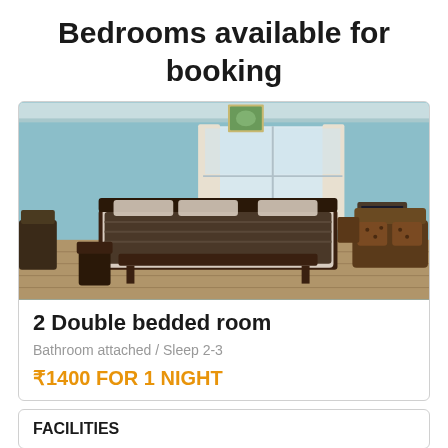Bedrooms available for booking
[Figure (photo): Interior photo of a room with two double beds, a sofa, coffee table, TV, and blue walls with a window]
2 Double bedded room
Bathroom attached / Sleep 2-3
₹1400 FOR 1 NIGHT
FACILITIES